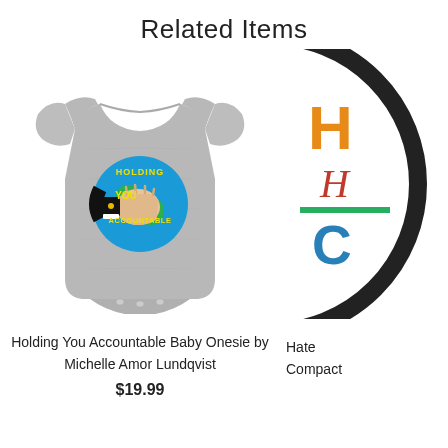Related Items
[Figure (photo): Gray baby onesie with circular logo reading 'Holding You Accountable' featuring a hand pointing at a globe]
Holding You Accountable Baby Onesie by Michelle Amor Lundqvist
$19.99
[Figure (photo): Partial view of a circular compact mirror with colorful text, partially cut off at the right edge]
Hate Compact